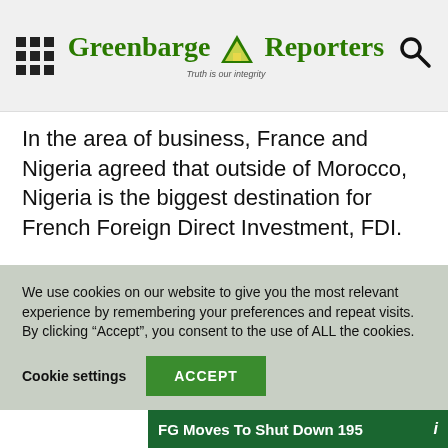Greenbarge Reporters — Truth is our integrity
In the area of business, France and Nigeria agreed that outside of Morocco, Nigeria is the biggest destination for French Foreign Direct Investment, FDI.
There are 120 active French businesses in Nigeria with oil giant, Total leading the pack. Altogether, they have investments worth more than USD 7 billion.
We use cookies on our website to give you the most relevant experience by remembering your preferences and repeat visits. By clicking “Accept”, you consent to the use of ALL the cookies.
Cookie settings   ACCEPT
FG Moves To Shut Down 195